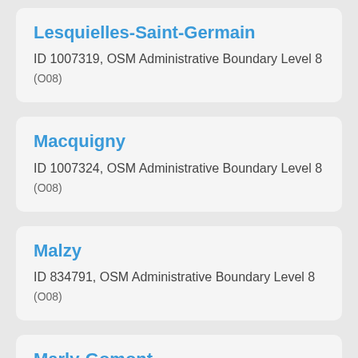Lesquielles-Saint-Germain
ID 1007319, OSM Administrative Boundary Level 8 (O08)
Macquigny
ID 1007324, OSM Administrative Boundary Level 8 (O08)
Malzy
ID 834791, OSM Administrative Boundary Level 8 (O08)
Marly-Gomont